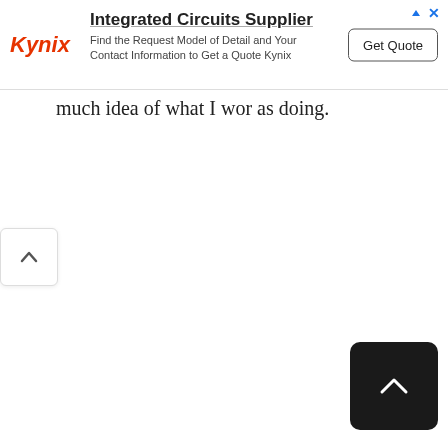[Figure (screenshot): Kynix Integrated Circuits Supplier advertisement banner with logo, headline 'Integrated Circuits Supplier', subtitle 'Find the Request Model of Detail and Your Contact Information to Get a Quote Kynix', and a 'Get Quote' button.]
much idea of what I wor as doing.
[Figure (other): Light-colored scroll-up arrow button on left side]
[Figure (other): Dark scroll-to-top button with upward chevron arrow in bottom-right corner]